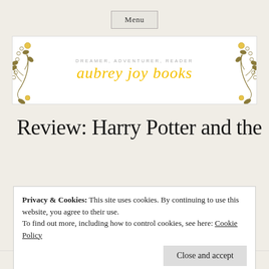Menu
[Figure (illustration): Blog banner for 'aubrey joy books' with decorative botanical line art (leaves, berries, branches) in olive green and yellow on white background. Subtitle: DREAMER, ADVENTURER, READER. Main title in yellow italic script: aubrey joy books.]
Review: Harry Potter and the
Privacy & Cookies: This site uses cookies. By continuing to use this website, you agree to their use.
To find out more, including how to control cookies, see here: Cookie Policy
Close and accept
Harry Potter and the Sorcerer's Stone (Harry Potter #1) –